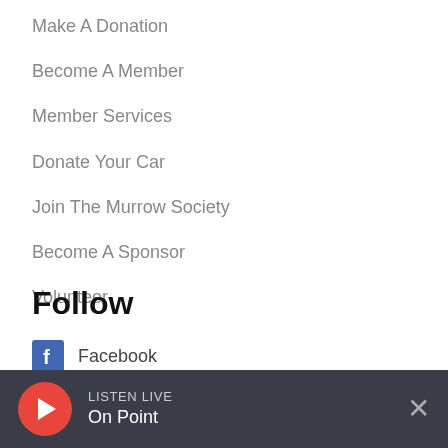Make A Donation
Become A Member
Member Services
Donate Your Car
Join The Murrow Society
Become A Sponsor
Volunteer
Follow
Facebook
LISTEN LIVE On Point